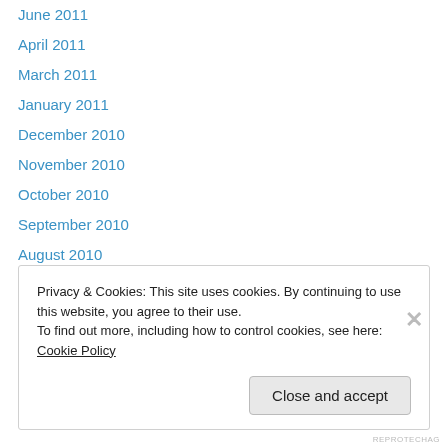June 2011
April 2011
March 2011
January 2011
December 2010
November 2010
October 2010
September 2010
August 2010
July 2010
June 2010
May 2010
April 2010
Privacy & Cookies: This site uses cookies. By continuing to use this website, you agree to their use.
To find out more, including how to control cookies, see here: Cookie Policy